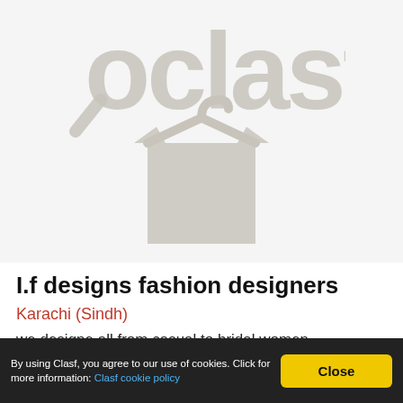[Figure (logo): Clasf logo — magnifying glass icon combined with a clothing hanger and shirt shape, in light gray]
I.f designs fashion designers
Karachi (Sindh)
we designe all from casual to bridal women wear...indulge into the fashion world of I.F Designs for orders and
By using Clasf, you agree to our use of cookies. Click for more information: Clasf cookie policy   Close